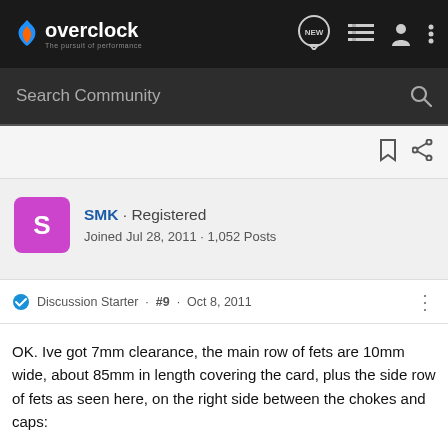overclock · The pursuit of performance
Search Community
SMK · Registered
Joined Jul 28, 2011 · 1,052 Posts
Discussion Starter · #9 · Oct 8, 2011
OK. Ive got 7mm clearance, the main row of fets are 10mm wide, about 85mm in length covering the card, plus the side row of fets as seen here, on the right side between the chokes and caps: